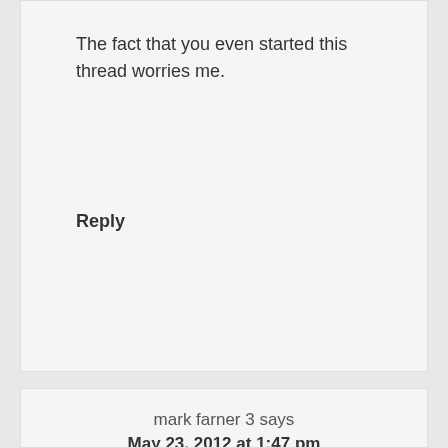The fact that you even started this thread worries me.
Reply
mark farner 3 says
May 23, 2012 at 1:47 pm
(yet another book/possible guest request)
"The Atheist's Guide to Reality" by Alex Rosenberg.
The book got slammed, it is written for a mass audience and it champions